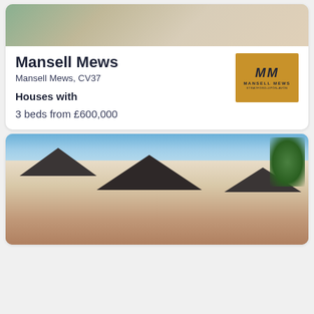[Figure (photo): Partial view of a patio or garden area with a plant visible, top portion of a property listing card]
Mansell Mews
Mansell Mews, CV37
[Figure (logo): Mansell Mews logo: gold/amber background with MM monogram and text 'MANSELL MEWS' below]
Houses with
3 beds from £600,000
[Figure (photo): Exterior rendering of Mansell Mews development showing a multi-storey residential building with dark grey roof, brick lower floors and rendered upper floors, blue sky background with trees]